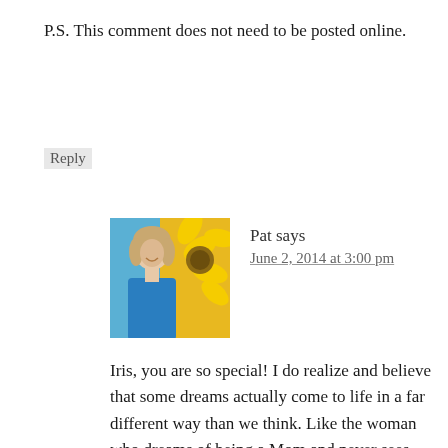P.S. This comment does not need to be posted online.
Reply
[Figure (photo): Profile photo of Pat, a woman in a blue jacket next to a sunflower background]
Pat says
June 2, 2014 at 3:00 pm
Iris, you are so special! I do realize and believe that some dreams actually come to life in a far different way than we think. Like the woman who dreams of being a Mom and never sees that dream come to life through her own body. I still believe however, that GOD is the planter of dreams and that somehow...